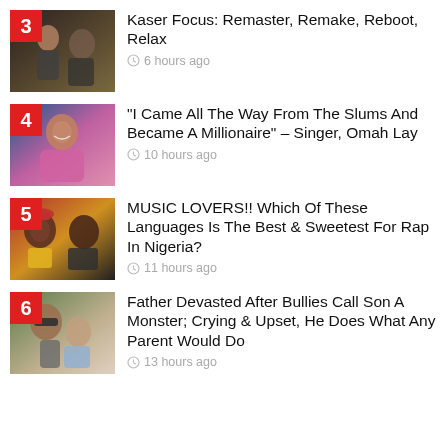Kaser Focus: Remaster, Remake, Reboot, Relax — 6 hours ago
"I Came All The Way From The Slums And Became A Millionaire" – Singer, Omah Lay — 10 hours ago
MUSIC LOVERS!! Which Of These Languages Is The Best & Sweetest For Rap In Nigeria? — 11 hours ago
Father Devasted After Bullies Call Son A Monster; Crying & Upset, He Does What Any Parent Would Do — 13 hours ago